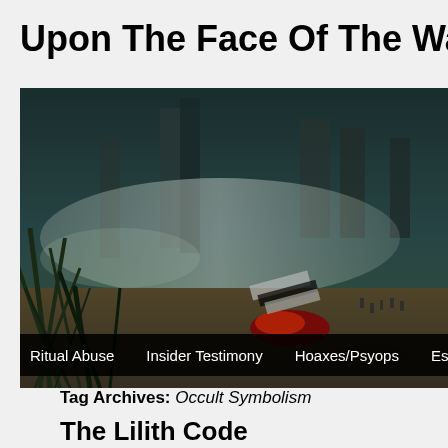Upon The Face Of The Waters
[Figure (photo): A dark fantasy or post-apocalyptic scene showing ruins of ancient columns, misty atmosphere, overgrown vegetation in the foreground, a figure in red on the ground, and devastated landscape in the background.]
Ritual Abuse | Insider Testimony | Hoaxes/Psyops | Esoteric Holly...
Tag Archives: Occult Symbolism
The Lilith Code